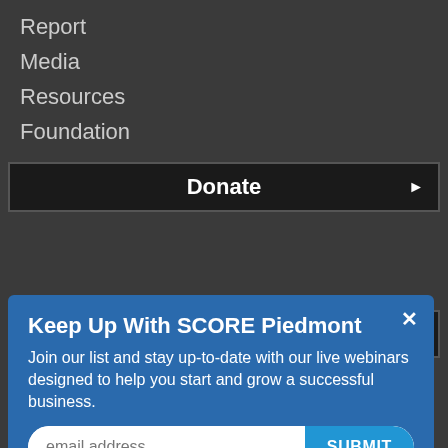Report
Media
Resources
Foundation
Donate ▶
Keep Up With SCORE Piedmont
Join our list and stay up-to-date with our live webinars designed to help you start and grow a successful business.
email address  SUBMIT
Funded, in part, through a Cooperative Agreement with the U.S. Small Business Administration. All opinions and/or recommendations expressed herein